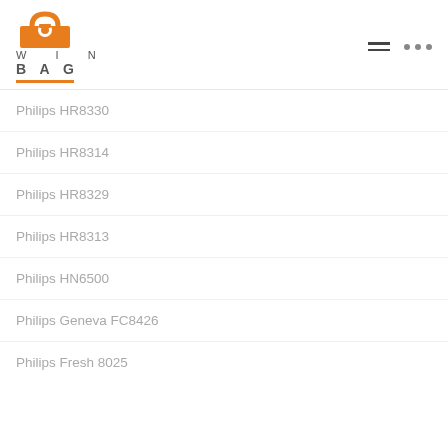[Figure (logo): WinBag logo with orange bag icon, WIN BAG text, and orange underline, plus hamburger menu and three dots icons]
Philips HR8330
Philips HR8314
Philips HR8329
Philips HR8313
Philips HN6500
Philips Geneva FC8426
Philips Fresh 8025